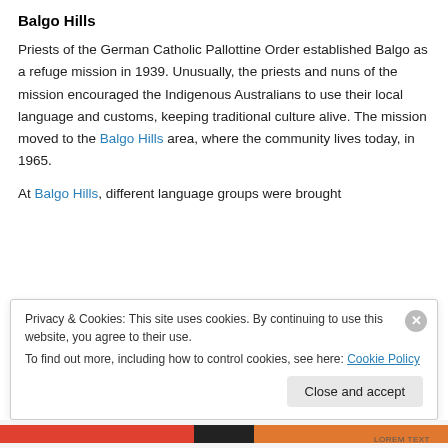Balgo Hills
Priests of the German Catholic Pallottine Order established Balgo as a refuge mission in 1939. Unusually, the priests and nuns of the mission encouraged the Indigenous Australians to use their local language and customs, keeping traditional culture alive. The mission moved to the Balgo Hills area, where the community lives today, in 1965.
At Balgo Hills, different language groups were brought
Privacy & Cookies: This site uses cookies. By continuing to use this website, you agree to their use.
To find out more, including how to control cookies, see here: Cookie Policy
[Close and accept]